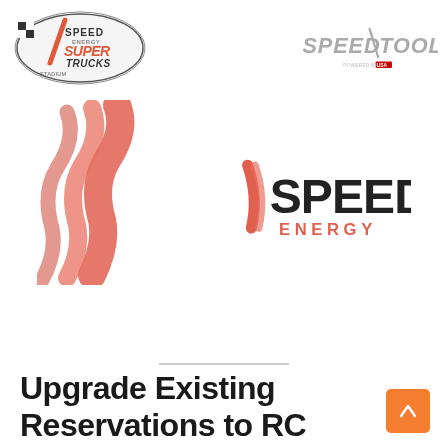[Figure (logo): Speed Energy Stadium Super Trucks logo (oval badge with checkered flag and racing truck graphic, red/black/white)]
[Figure (logo): Speed Tools logo (stylized text SPEED/TOOLS in gray italic lettering with tagline)]
[Figure (logo): Large speed lightning bolt / slash mark logo in coral/salmon red color]
[Figure (logo): Speed Energy logo: slash bolt mark in coral red followed by SPEED in dark text and ENERGY in coral red below]
[Figure (logo): SPEEDRCCARS.com logo in stylized italic text, RC in red/orange]
Upgrade Existing Reservations to RC